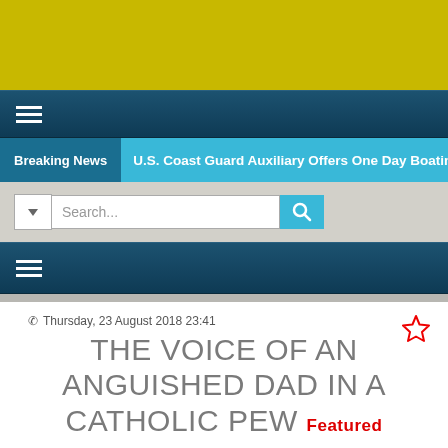[Figure (other): Yellow/gold decorative banner at top of page]
≡ (hamburger menu icon, dark teal navigation bar)
Breaking News  U.S. Coast Guard Auxiliary Offers One Day Boating Sa...
Search... (search bar with dropdown and search button)
≡ (hamburger menu icon, second dark teal navigation bar)
Thursday, 23 August 2018 23:41
THE VOICE OF AN ANGUISHED DAD IN A CATHOLIC PEW Featured
Written by Production